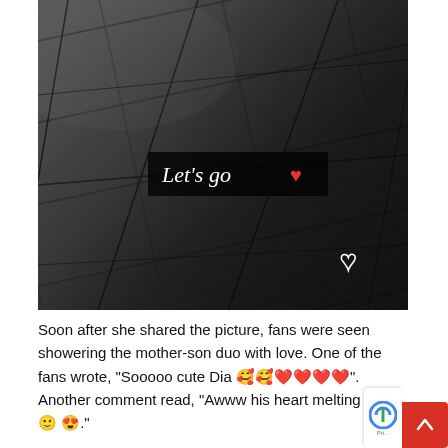[Figure (photo): Black and white close-up photo of dark wood floor planks with grain texture. A black semi-transparent label reads 'Let’s go' with a red heart emoji overlaid in the center-lower area. A white heart outline icon appears in the bottom-right corner of the image.]
Soon after she shared the picture, fans were seen showering the mother-son duo with love. One of the fans wrote, “Sooooo cute Dia 🥰🥰❤️❤️❤️❤️”. Another comment read, “Awww his heart melting smile 🙂 😍.”